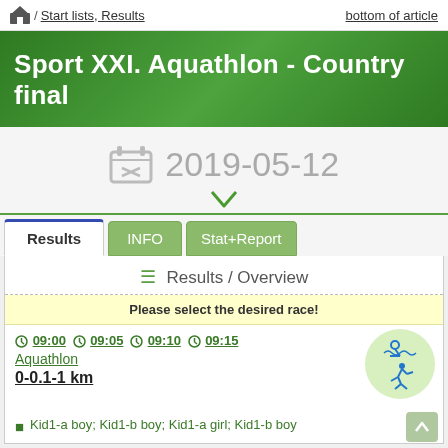/ Start lists, Results   bottom of article
Sport XXI. Aquathlon - Country final
2019-05-12
Results / Overview
Please select the desired race!
09:00 09:05 09:10 09:15
Aquathlon
0-0.1-1 km
Kid1-a boy; Kid1-b boy; Kid1-a girl; Kid1-b boy